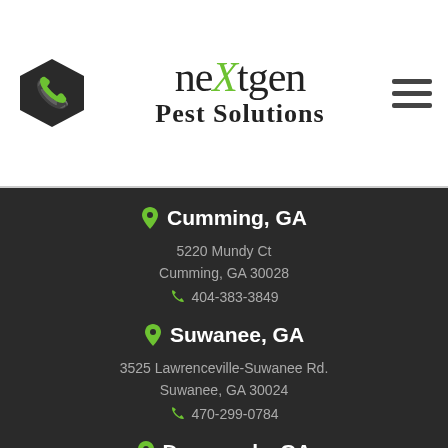[Figure (logo): NextGen Pest Solutions logo with hexagon phone icon on left, hamburger menu on right, and stylized text 'neXtgen Pest Solutions' in center]
Cumming, GA
5220 Mundy Ct
Cumming, GA 30028
404-383-3849
Suwanee, GA
3525 Lawrenceville-Suwanee Rd.
Suwanee, GA 30024
470-299-0784
Dunwoody, GA